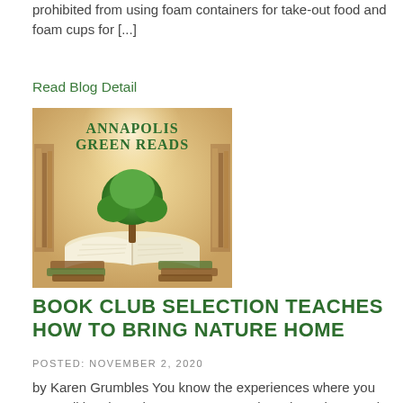prohibited from using foam containers for take-out food and foam cups for [...]
Read Blog Detail
[Figure (illustration): Annapolis Green Reads logo: open book with a green tree growing from its pages, surrounded by stacked books, warm golden library background, with text 'Annapolis Green Reads' in green serif font.]
BOOK CLUB SELECTION TEACHES HOW TO BRING NATURE HOME
POSTED: NOVEMBER 2, 2020
by Karen Grumbles You know the experiences where you are walking through a nature area and you hear the sounds of